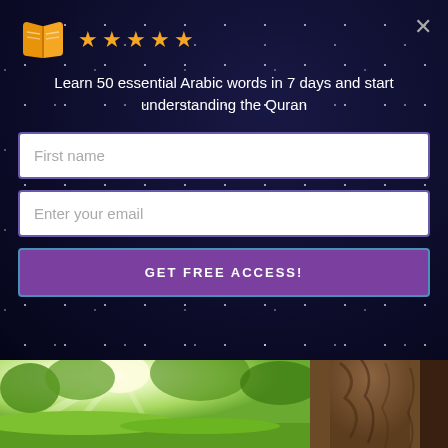[Figure (screenshot): Modal popup overlay on a dark starry background with book icon, 5 star rating, tagline, name/email input fields, and a GET FREE ACCESS button]
Learn 50 essential Arabic words in 7 days and start understanding the Quran
Tips to Help Your Child Understand The Quran
[Figure (photo): Nature scene showing sunlight through green trees on the left and a tree trunk on the right, grass in the foreground]